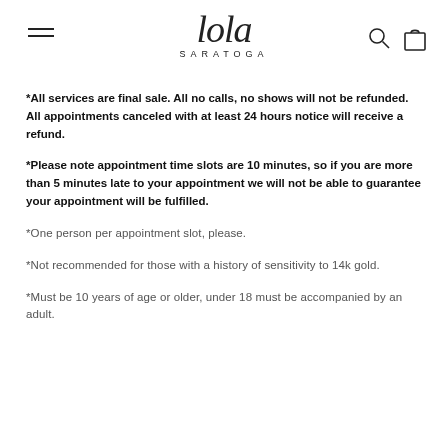lola SARATOGA
*All services are final sale. All no calls, no shows will not be refunded. All appointments canceled with at least 24 hours notice will receive a refund.
*Please note appointment time slots are 10 minutes, so if you are more than 5 minutes late to your appointment we will not be able to guarantee your appointment will be fulfilled.
*One person per appointment slot, please.
*Not recommended for those with a history of sensitivity to 14k gold.
*Must be 10 years of age or older, under 18 must be accompanied by an adult.